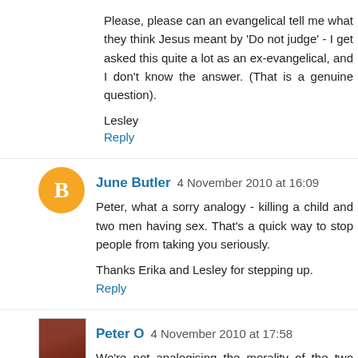Please, please can an evangelical tell me what they think Jesus meant by 'Do not judge' - I get asked this quite a lot as an ex-evangelical, and I don't know the answer. (That is a genuine question).
Lesley
Reply
June Butler  4 November 2010 at 16:09
Peter, what a sorry analogy - killing a child and two men having sex. That's a quick way to stop people from taking you seriously.
Thanks Erika and Lesley for stepping up.
Reply
Peter O  4 November 2010 at 17:58
We're not analogising the morality of the two acts - we're